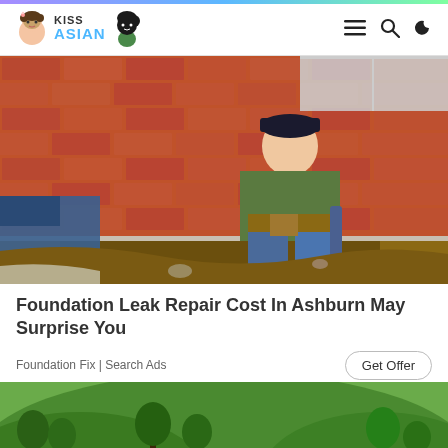KISS ASIAN — navigation bar with logo, hamburger menu, search, and dark mode icons
[Figure (photo): Two workers kneeling and digging at the base of a red brick wall foundation, working in dirt/soil]
Foundation Leak Repair Cost In Ashburn May Surprise You
Foundation Fix | Search Ads
[Figure (photo): Lush green hillside landscape with trees, partially visible at bottom of page]